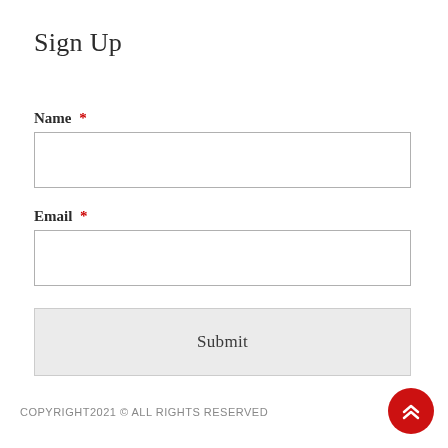Sign Up
Name *
[Figure (other): Name text input field, empty, with light gray border]
Email *
[Figure (other): Email text input field, empty, with light gray border]
[Figure (other): Submit button with light gray background]
COPYRIGHT2021 © ALL RIGHTS RESERVED